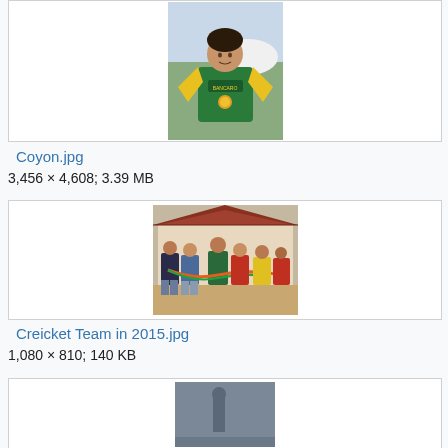[Figure (photo): A young cricket player wearing a green and yellow jersey, standing outdoors. Partially visible at top of page.]
Coyon.jpg
3,456 × 4,608; 3.39 MB
[Figure (photo): A group of young men standing together outdoors near a building with a tiled roof, holding something (possibly a garland or rope) between them.]
Creicket Team in 2015.jpg
1,080 × 810; 140 KB
[Figure (photo): A partially visible photo at the bottom of the page.]